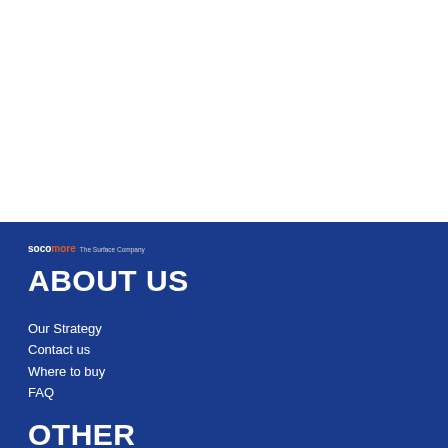[Figure (logo): Socomore logo with orange 'more' text and white 'soco' text, tagline 'The Surface Company']
ABOUT US
Our Strategy
Contact us
Where to buy
FAQ
OTHER